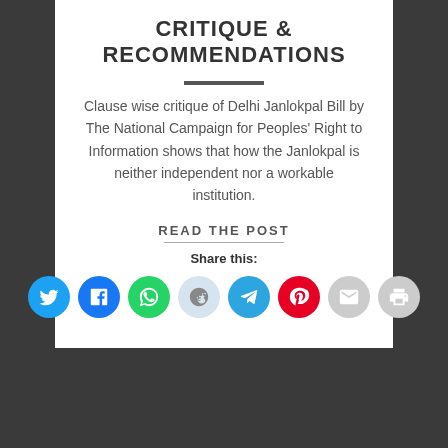CRITIQUE & RECOMMENDATIONS
Clause wise critique of Delhi Janlokpal Bill by The National Campaign for Peoples' Right to Information shows that how the Janlokpal is neither independent nor a workable institution.
READ THE POST
Share this:
[Figure (other): Row of 8 social sharing icon circles: Twitter (blue), Facebook (blue), WhatsApp (green), Reddit (light blue), Telegram (blue), Pinterest (red), Email (grey), Print (grey)]